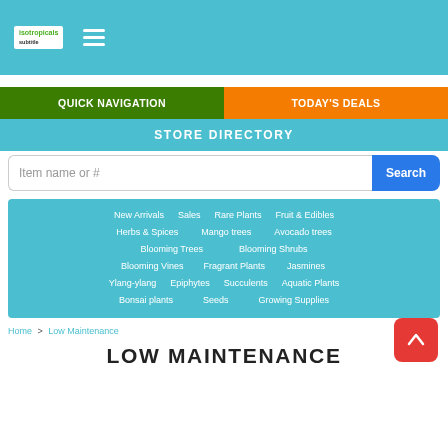isotropicals logo and hamburger menu
[Figure (screenshot): Navigation bar with Quick Navigation (green), Today's Deals (orange), Store Directory (teal) buttons]
[Figure (screenshot): Search input field with placeholder 'Item name or #' and blue Search button]
[Figure (screenshot): Category navigation box (teal) with links: New Arrivals, Sales, Rare Plants, Fruit & Edibles, Herbs & Spices, Mango trees, Avocado trees, Blooming Trees, Blooming Shrubs, Blooming Vines, Fragrant Plants, Jasmines, Ylang-ylang, Epiphytes, Succulents, Aquatic Plants, Bonsai plants, Seeds, Growing Supplies]
Home > Low Maintenance
LOW MAINTENANCE